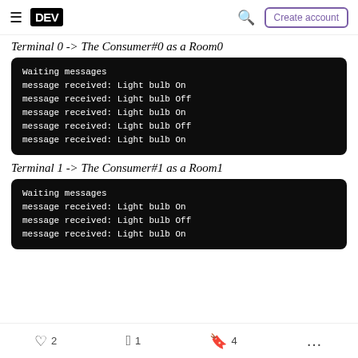DEV | Create account
Terminal 0 -> The Consumer#0 as a Room0
[Figure (screenshot): Terminal output showing: Waiting messages, message received: Light bulb On, message received: Light bulb Off, message received: Light bulb On, message received: Light bulb Off, message received: Light bulb On]
Terminal 1 -> The Consumer#1 as a Room1
[Figure (screenshot): Terminal output showing: Waiting messages, message received: Light bulb On, message received: Light bulb Off, message received: Light bulb On]
2  1  4  ...